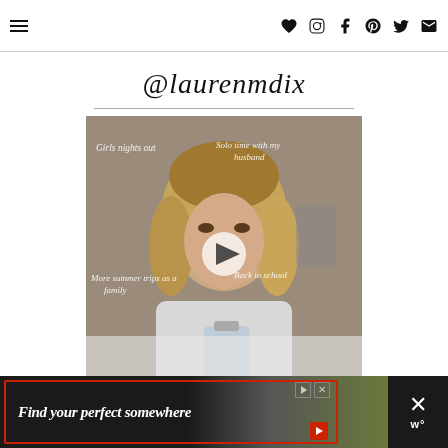Navigation bar with hamburger menu and social icons: heart, instagram, facebook, pinterest, twitter, email
@laurenmdix
[Figure (photo): Video thumbnail of a woman lying in bed holding a drink with text overlays: 'Girls nights out', 'Solo time with my husband', 'More summer trips as a family', 'Back to school'. A play button is centered on the image.]
Find your perfect somewhere
Advertisement banner: Find your perfect somewhere